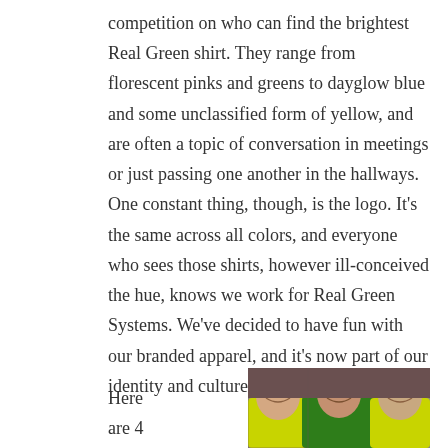competition on who can find the brightest Real Green shirt. They range from florescent pinks and greens to dayglow blue and some unclassified form of yellow, and are often a topic of conversation in meetings or just passing one another in the hallways. One constant thing, though, is the logo. It's the same across all colors, and everyone who sees those shirts, however ill-conceived the hue, knows we work for Real Green Systems. We've decided to have fun with our branded apparel, and it's now part of our identity and culture.
[Figure (photo): Three men wearing bright green and yellow branded shirts smiling together, cropped at bottom of page]
Here are 4